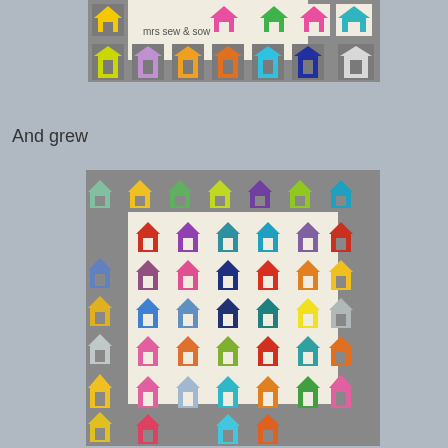[Figure (photo): Quilt with colorful house blocks arranged in rows with grey border, text 'mrs sew & sow' visible, houses in yellow, orange, pink, green, blue, purple colors on grey and white background]
And grew
[Figure (photo): Larger quilt with colorful house blocks in a grid pattern, grey border surrounding white interior blocks, houses in many bright colors including red, blue, green, yellow, orange, purple, pink on white squares with grey border blocks]